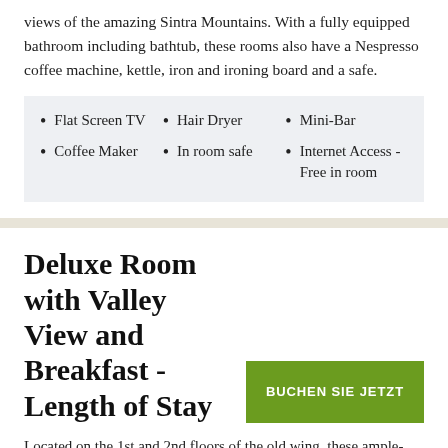views of the amazing Sintra Mountains. With a fully equipped bathroom including bathtub, these rooms also have a Nespresso coffee machine, kettle, iron and ironing board and a safe.
Flat Screen TV
Coffee Maker
Hair Dryer
In room safe
Mini-Bar
Internet Access - Free in room
Deluxe Room with Valley View and Breakfast - Length of Stay
BUCHEN SIE JETZT
Located on the 1st and 2nd floors of the old wing, these ample-sized rooms varying in size from 21sqm to 28sqm, with double or twin beds, have superb